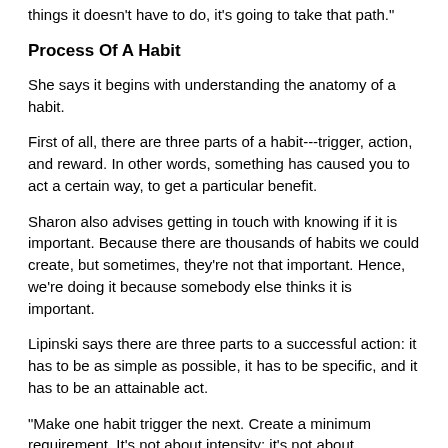things it doesn't have to do, it's going to take that path."
Process Of A Habit
She says it begins with understanding the anatomy of a habit.
First of all, there are three parts of a habit---trigger, action, and reward. In other words, something has caused you to act a certain way, to get a particular benefit.
Sharon also advises getting in touch with knowing if it is important. Because there are thousands of habits we could create, but sometimes, they’re not that important. Hence, we're doing it because somebody else thinks it is important.
Lipinski says there are three parts to a successful action: it has to be as simple as possible, it has to be specific, and it has to be an attainable act.
"Make one habit trigger the next. Create a minimum requirement. It's not about intensity; it's not about duration," Lipinski said. "It's the simple act of doing it that builds your neuro pathways. Hence, you just want to keep that fire alive."
7 Fundamental Habits
1. Physical health
2. Mindfulness
3. Relationships
4. Connecting with yourself